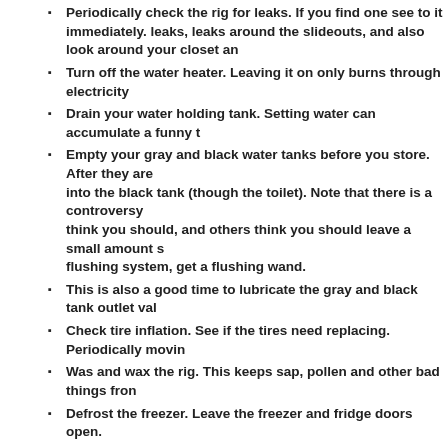Periodically check the rig for leaks. If you find one see to it immediately. leaks, leaks around the slideouts, and also look around your closet a...
Turn off the water heater. Leaving it on only burns through electricity...
Drain your water holding tank. Setting water can accumulate a funny t...
Empty your gray and black water tanks before you store. After they a... into the black tank (though the toilet). Note that there is a controversy think you should, and others think you should leave a small amount s... flushing system, get a flushing wand.
This is also a good time to lubricate the gray and black tank outlet val...
Check tire inflation. See if the tires need replacing. Periodically movin...
Was and wax the rig. This keeps sap, pollen and other bad things fron...
Defrost the freezer. Leave the freezer and fridge doors open.
Clean or replace the A/C filters.
Remove batteries from things like clocks, flashlights, lights and so o...
If you will be leaving your rig during a time you expect it to be really h... conditioner on. Of course it doesn't have to run at a livable temperatu... day and then turn off again. This should prevent mold from growing in...
We are fortunate enough to park our rig between trips at a friends hou... set to a relatively high temp as described above. We don't see any nee...
Even though you're done all of the above, after you set out on your next trip you n... [http://rvservices.koa.com/rvinformation/rvmaintenance/make-your-water-taste-lik...
"Take a quarter cup of house hold bleach for every fifteen gallons of water that yo... fresh water holding tank. Fill the fresh water tank completely full of water. Turn the at each faucet. Close the faucets and let it sit for three to four hours. Drain the en... water until you no longer smell any bleach. It may be necessary to repeat this pro...